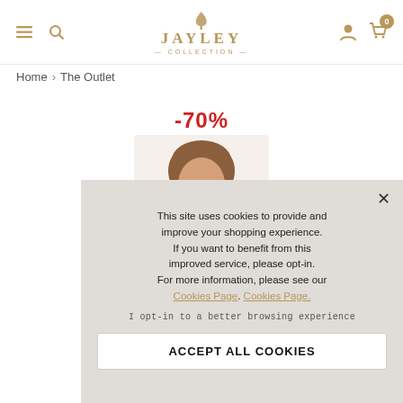JAYLEY COLLECTION — navigation header with menu, search, logo, account, cart (0)
Home › The Outlet
-70%
[Figure (photo): Model wearing fashion clothing, partially obscured by cookie consent overlay]
This site uses cookies to provide and improve your shopping experience. If you want to benefit from this improved service, please opt-in. For more information, please see our Cookies Page. Cookies Page.

I opt-in to a better browsing experience

ACCEPT ALL COOKIES